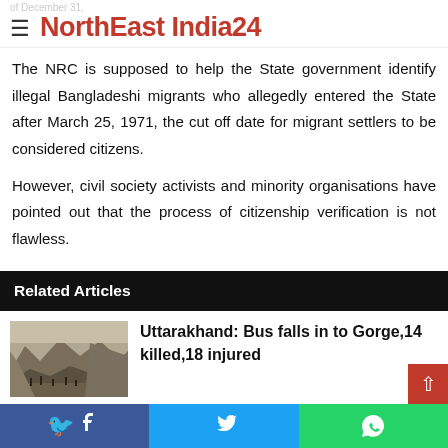NorthEast India24
The NRC is supposed to help the State government identify illegal Bangladeshi migrants who allegedly entered the State after March 25, 1971, the cut off date for migrant settlers to be considered citizens.
However, civil society activists and minority organisations have pointed out that the process of citizenship verification is not flawless.
Related Articles
[Figure (photo): Photo of a mountainous gorge terrain with people and vehicles visible]
Uttarakhand: Bus falls in to Gorge,14 killed,18 injured